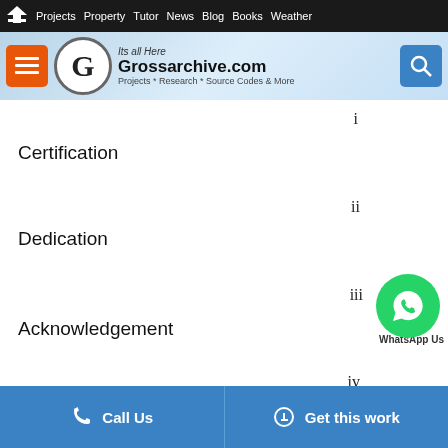Home | Projects | Property | Tutor | News | Blog | Books | Weather
[Figure (logo): Grossarchive.com website header banner with logo, menu button, and search button. Tagline: Its all Here. Subtitle: Projects * Research * Source Codes & More]
i
Certification
ii
Dedication
iii
Acknowledgement
iv
Call Us | Get this work